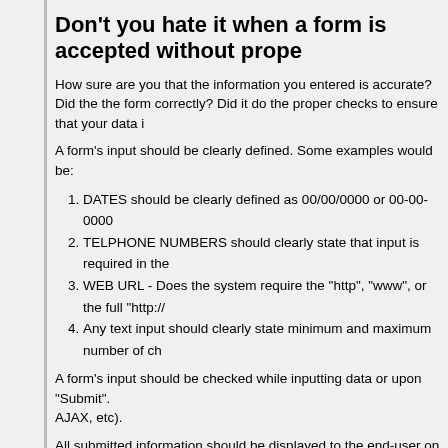Don't you hate it when a form is accepted without prope
How sure are you that the information you entered is accurate? Did the the form correctly? Did it do the proper checks to ensure that your data i
A form's input should be clearly defined. Some examples would be:
DATES should be clearly defined as 00/00/0000 or 00-00-0000
TELPHONE NUMBERS should clearly state that input is required in the
WEB URL - Does the system require the "http", "www", or the full "http://
Any text input should clearly state minimum and maximum number of ch
A form's input should be checked while inputting data or upon "Submit". AJAX, etc).
All submitted information should be displayed to the end-user on the foll emailed to them. This will provide the end-user an opportunity to fix any
Don't you hate it when an error message comes up on a
Aaaaarrrggghh!
I hate it when this happens. You submit the form and you are notified tha located OR you may have to redo the form in its entirety. Yep, this is the
Don't you hate it when you are instructed to "Go Back"
What's so bad about this? This is one additional step that could have be firsthand what was 'required'!